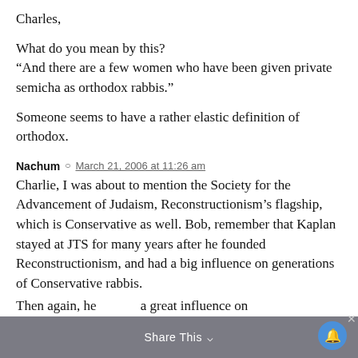Charles,
What do you mean by this?
“And there are a few women who have been given private semicha as orthodox rabbis.”
Someone seems to have a rather elastic definition of orthodox.
Nachum ○ March 21, 2006 at 11:26 am
Charlie, I was about to mention the Society for the Advancement of Judaism, Reconstructionism’s flagship, which is Conservative as well. Bob, remember that Kaplan stayed at JTS for many years after he founded Reconstructionism, and had a big influence on generations of Conservative rabbis.
Then again, he had a great influence on
Share This